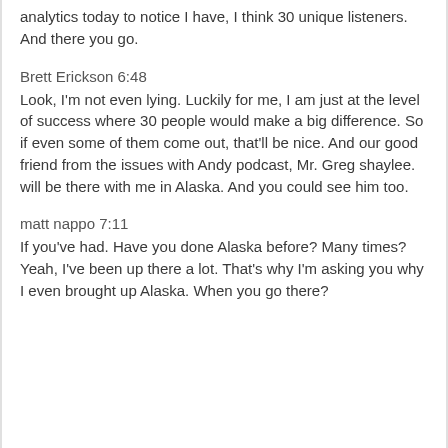I was looking at my demographics and my analytics today to notice I have, I think 30 unique listeners. And there you go.
Brett Erickson 6:48
Look, I'm not even lying. Luckily for me, I am just at the level of success where 30 people would make a big difference. So if even some of them come out, that'll be nice. And our good friend from the issues with Andy podcast, Mr. Greg shaylee. will be there with me in Alaska. And you could see him too.
matt nappo 7:11
If you've had. Have you done Alaska before? Many times? Yeah, I've been up there a lot. That's why I'm asking you why I even brought up Alaska. When you go there?